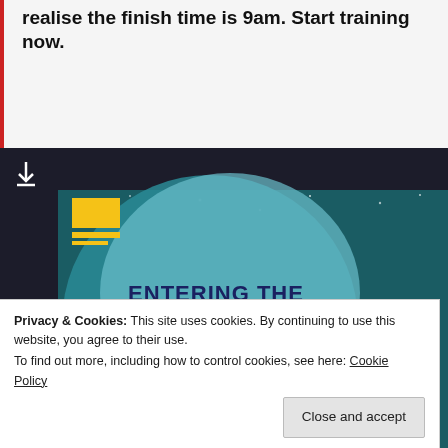realise the finish time is 9am. Start training now.
[Figure (infographic): Screenshot of a webpage showing a dark-themed infographic titled 'ENTERING THE TWILIGHT ZONE' with a teal/dark blue background, yellow banner, moon/globe illustration, and a download icon. A cookie consent banner overlays the bottom portion.]
Privacy & Cookies: This site uses cookies. By continuing to use this website, you agree to their use.
To find out more, including how to control cookies, see here: Cookie Policy